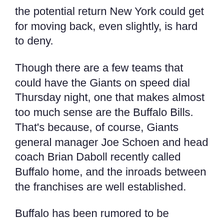the potential return New York could get for moving back, even slightly, is hard to deny.
Though there are a few teams that could have the Giants on speed dial Thursday night, one that makes almost too much sense are the Buffalo Bills. That's because, of course, Giants general manager Joe Schoen and head coach Brian Daboll recently called Buffalo home, and the inroads between the franchises are well established.
Buffalo has been rumored to be considering a trade up on Thursday and “may move a veteran or two in the